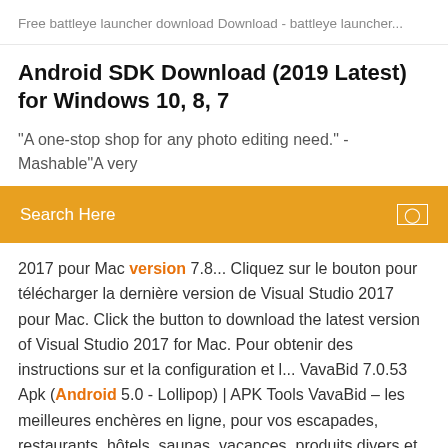Free battleye launcher download Download - battleye launcher...
Android SDK Download (2019 Latest) for Windows 10, 8, 7
"A one-stop shop for any photo editing need." -Mashable"A very
Search Here
2017 pour Mac version 7.8... Cliquez sur le bouton pour télécharger la dernière version de Visual Studio 2017 pour Mac. Click the button to download the latest version of Visual Studio 2017 for Mac. Pour obtenir des instructions sur et la configuration et l... VavaBid 7.0.53 Apk (Android 5.0 - Lollipop) | APK Tools VavaBid – les meilleures enchères en ligne, pour vos escapades, restaurants, hôtels, saunas, vacances, produits divers et bien plus
https://www.mono-project.com/download/stable/